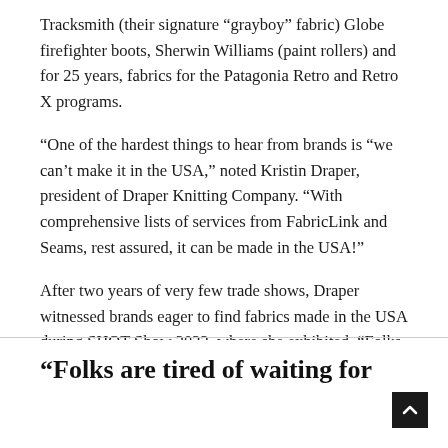Tracksmith (their signature “grayboy” fabric) Globe firefighter boots, Sherwin Williams (paint rollers) and for 25 years, fabrics for the Patagonia Retro and Retro X programs.
“One of the hardest things to hear from brands is “we can’t make it in the USA,” noted Kristin Draper, president of Draper Knitting Company. “With comprehensive lists of services from FabricLink and Seams, rest assured, it can be made in the USA!”
After two years of very few trade shows, Draper witnessed brands eager to find fabrics made in the USA during SHOT Show 2022, where she exhibited. “Folks are tired of waiting for containers, very large minimums and longer lead times. The ability to pick up the phone and talk with us is a big advantage,” she said. \
“Folks are tired of waiting for